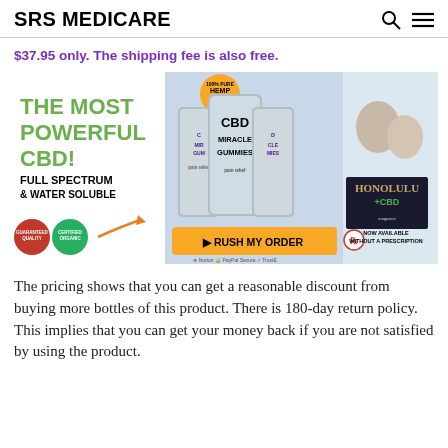SRS MEDICARE
$37.95 only. The shipping fee is also free.
[Figure (photo): Advertisement image for CBD Miracle Gummies showing product bags, a couple, Honolulu CBD magazine reference, and a 'RUSH MY ORDER' button. Text includes: THE MOST POWERFUL CBD! FULL SPECTRUM & WATER SOLUBLE, 100% PURE HEMP OIL, NOW AVAILABLE WITHOUT A PRESCRIPTION.]
The pricing shows that you can get a reasonable discount from buying more bottles of this product. There is 180-day return policy. This implies that you can get your money back if you are not satisfied by using the product.